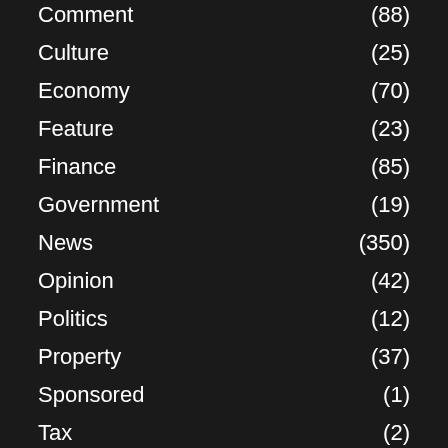Comment (88)
Culture (25)
Economy (70)
Feature (23)
Finance (85)
Government (19)
News (350)
Opinion (42)
Politics (12)
Property (37)
Sponsored (1)
Tax (2)